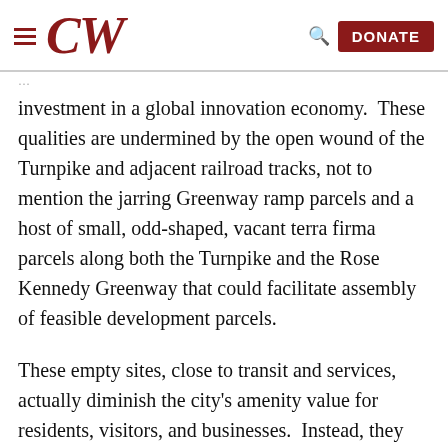CW | DONATE
investment in a global innovation economy.  These qualities are undermined by the open wound of the Turnpike and adjacent railroad tracks, not to mention the jarring Greenway ramp parcels and a host of small, odd-shaped, vacant terra firma parcels along both the Turnpike and the Rose Kennedy Greenway that could facilitate assembly of feasible development parcels.
These empty sites, close to transit and services, actually diminish the city's amenity value for residents, visitors, and businesses.  Instead, they can be economic development assets that help meet the city's growth needs and increase its investment appeal.  The city thus